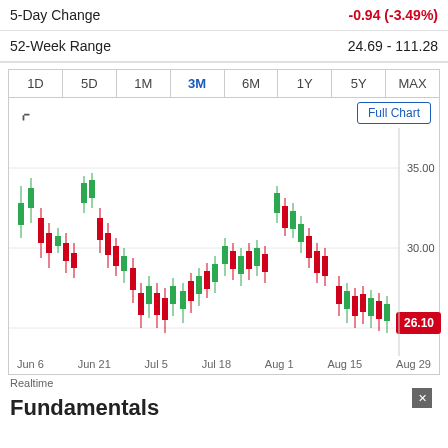| Metric | Value |
| --- | --- |
| 5-Day Change | -0.94 (-3.49%) |
| 52-Week Range | 24.69 - 111.28 |
[Figure (continuous-plot): 3-Month candlestick chart showing stock price from Jun 6 to Aug 29. Price ranges between approximately 25.00 and 35.00. Current price label shows 26.10 in red. Chart has time period tabs: 1D, 5D, 1M, 3M (active), 6M, 1Y, 5Y, MAX.]
Realtime
Fundamentals